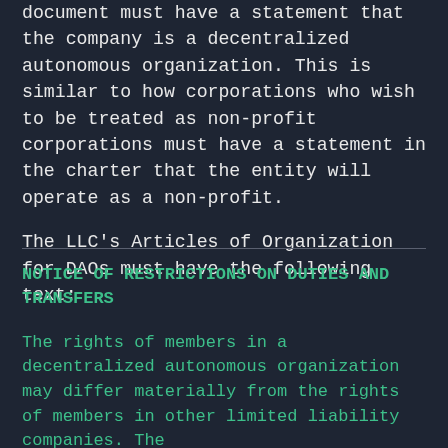document must have a statement that the company is a decentralized autonomous organization. This is similar to how corporations who wish to be treated as non-profit corporations must have a statement in the charter that the entity will operate as a non-profit.
The LLC's Articles of Organization for DAOs must have the following text:
NOTICE OF RESTRICTIONS ON DUTIES AND TRANSFERS

The rights of members in a decentralized autonomous organization may differ materially from the rights of members in other limited liability companies. The